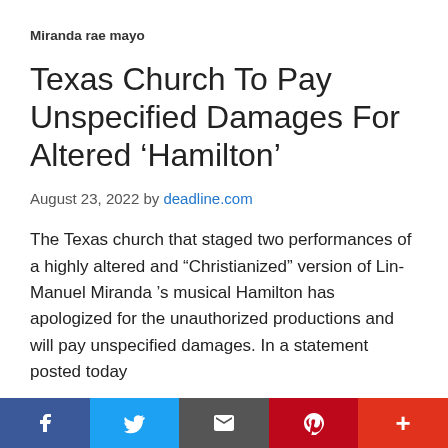Miranda rae mayo
Texas Church To Pay Unspecified Damages For Altered ‘Hamilton’
August 23, 2022 by deadline.com
The Texas church that staged two performances of a highly altered and “Christianized” version of Lin-Manuel Miranda ’s musical Hamilton has apologized for the unauthorized productions and will pay unspecified damages. In a statement posted today